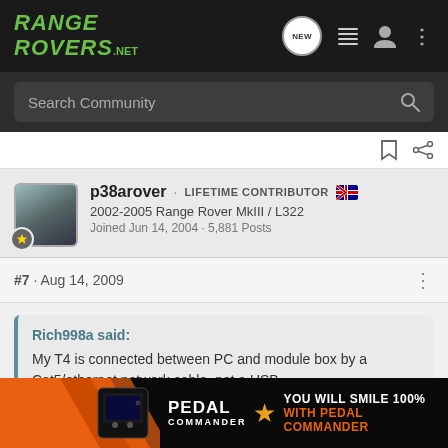RANGE ROVERS .NET
Search Community
p38arover · LIFETIME CONTRIBUTOR
2002-2005 Range Rover MkIII / L322
Joined Jun 14, 2004 · 5,881 Posts
#7 · Aug 14, 2009
Rich998a said:
My T4 is connected between PC and module box by a Cat5/ethernet network cable, not a USB.
T4 Mobile uses a USB connection. I have used it
[Figure (screenshot): Pedal Commander advertisement banner at bottom of page: orange diagonal stripes, device image, PEDAL COMMANDER logo with star, and text YOU WILL SMILE 100% WITH PEDAL COMMANDER]